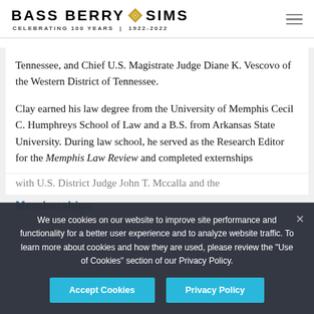BASS BERRY SIMS — CELEBRATING 100 YEARS | 1922-2022
Tennessee, and Chief U.S. Magistrate Judge Diane K. Vescovo of the Western District of Tennessee.
Clay earned his law degree from the University of Memphis Cecil C. Humphreys School of Law and a B.S. from Arkansas State University. During law school, he served as the Research Editor for the Memphis Law Review and completed externships with U.S. District Judge John T. Mccalla and the
We use cookies on our website to improve site performance and functionality for a better user experience and to analyze website traffic. To learn more about cookies and how they are used, please review the "Use of Cookies" section of our Privacy Policy.
Memberships